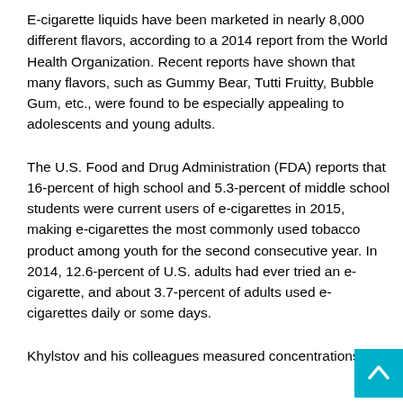E-cigarette liquids have been marketed in nearly 8,000 different flavors, according to a 2014 report from the World Health Organization. Recent reports have shown that many flavors, such as Gummy Bear, Tutti Fruitty, Bubble Gum, etc., were found to be especially appealing to adolescents and young adults.
The U.S. Food and Drug Administration (FDA) reports that 16-percent of high school and 5.3-percent of middle school students were current users of e-cigarettes in 2015, making e-cigarettes the most commonly used tobacco product among youth for the second consecutive year. In 2014, 12.6-percent of U.S. adults had ever tried an e-cigarette, and about 3.7-percent of adults used e-cigarettes daily or some days.
Khylstov and his colleagues measured concentrations of 1...